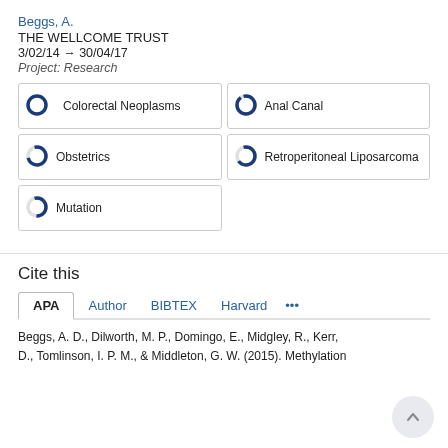Beggs, A.
THE WELLCOME TRUST
3/02/14 → 30/04/17
Project: Research
Colorectal Neoplasms
Anal Canal
Obstetrics
Retroperitoneal Liposarcoma
Mutation
Cite this
APA  Author  BIBTEX  Harvard  ...
Beggs, A. D., Dilworth, M. P., Domingo, E., Midgley, R., Kerr, D., Tomlinson, I. P. M., & Middleton, G. W. (2015). Methylation ...